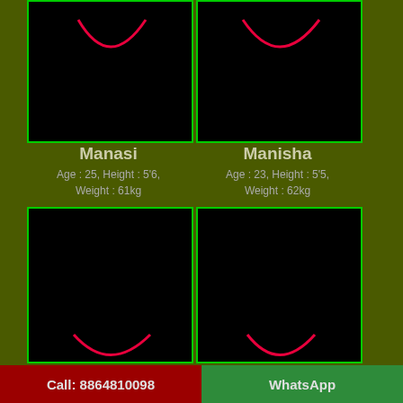[Figure (photo): Black photo box with partial pink/red arc smile at top, profile image of Manasi]
[Figure (photo): Black photo box with partial pink/red arc smile at top, profile image of Manisha]
Manasi
Age : 25, Height : 5’6, Weight : 61kg
Manisha
Age : 23, Height : 5’5, Weight : 62kg
[Figure (photo): Black photo box with pink/red arc smile at bottom, profile image below Manasi]
[Figure (photo): Black photo box with pink/red arc smile at bottom, profile image below Manisha]
Call: 8864810098
WhatsApp